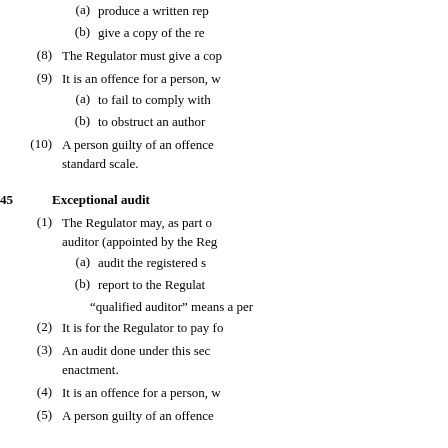(a)  produce a written rep
(b)  give a copy of the re
(8)  The Regulator must give a cop
(9)  It is an offence for a person, w
(a)  to fail to comply with
(b)  to obstruct an author
(10)  A person guilty of an offence standard scale.
45  Exceptional audit
(1)  The Regulator may, as part o auditor (appointed by the Reg
(a)  audit the registered s
(b)  report to the Regulat
“qualified auditor” means a per
(2)  It is for the Regulator to pay fo
(3)  An audit done under this sec enactment.
(4)  It is an offence for a person, w
(5)  A person guilty of an offence